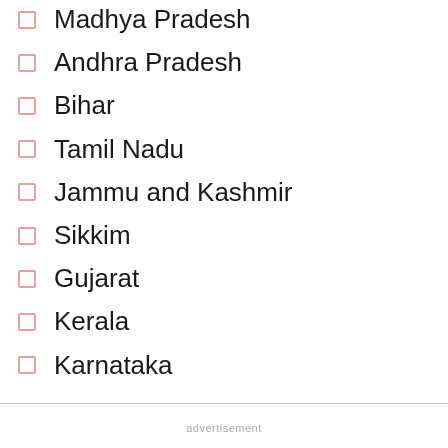Madhya Pradesh
Andhra Pradesh
Bihar
Tamil Nadu
Jammu and Kashmir
Sikkim
Gujarat
Kerala
Karnataka
advertisement